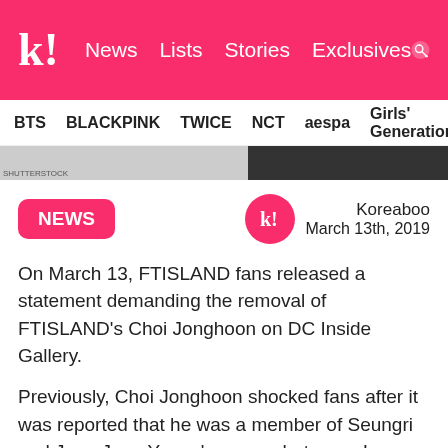k! News Lists Stories Exclusives
BTS BLACKPINK TWICE NCT aespa Girls' Generation
[Figure (photo): Partial image strip showing a dark photo on the right side]
NEWS
Koreaboo
March 13th, 2019
On March 13, FTISLAND fans released a statement demanding the removal of FTISLAND's Choi Jonghoon on DC Inside Gallery.
Previously, Choi Jonghoon shocked fans after it was reported that he was a member of Seungri and Jung Joon Young's group chatroom. In particular, he was not only caught drunk driving but was even suspected of asking the police to